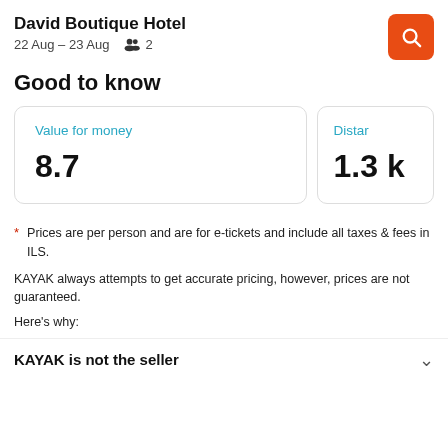David Boutique Hotel
22 Aug – 23 Aug   2
Good to know
| Value for money | Distan... |
| --- | --- |
| 8.7 | 1.3 k... |
* Prices are per person and are for e-tickets and include all taxes & fees in ILS.

KAYAK always attempts to get accurate pricing, however, prices are not guaranteed.

Here's why:
KAYAK is not the seller